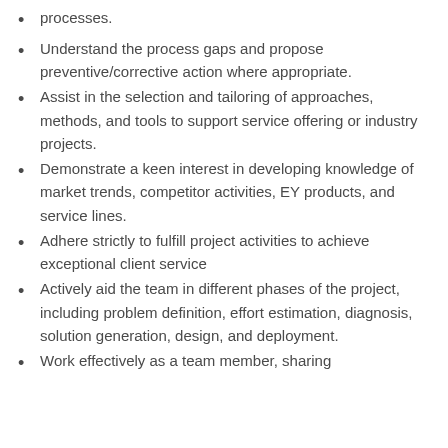processes.
Understand the process gaps and propose preventive/corrective action where appropriate.
Assist in the selection and tailoring of approaches, methods, and tools to support service offering or industry projects.
Demonstrate a keen interest in developing knowledge of market trends, competitor activities, EY products, and service lines.
Adhere strictly to fulfill project activities to achieve exceptional client service
Actively aid the team in different phases of the project, including problem definition, effort estimation, diagnosis, solution generation, design, and deployment.
Work effectively as a team member, sharing